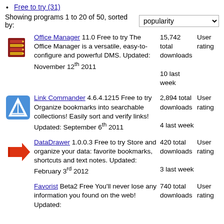Free to try (31)
Showing programs 1 to 20 of 50, sorted by: popularity
Office Manager 11.0 Free to try The Office Manager is a versatile, easy-to-configure and powerful DMS. Updated: November 12th 2011 | 15,742 total downloads | 10 last week | User rating
Link Commander 4.6.4.1215 Free to try Organize bookmarks into searchable collections! Easily sort and verify links! Updated: September 6th 2011 | 2,894 total downloads | 4 last week | User rating
DataDrawer 1.0.0.3 Free to try Store and organize your data: favorite bookmarks, shortcuts and text notes. Updated: February 3rd 2012 | 420 total downloads | 3 last week | User rating
Favorist Beta2 Free You'll never lose any information you found on the web! Updated: | 740 total downloads | User rating